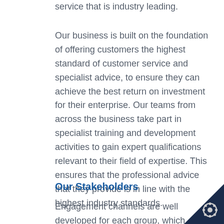service that is industry leading.
Our business is built on the foundation of offering customers the highest standard of customer service and specialist advice, to ensure they can achieve the best return on investment for their enterprise. Our teams from across the business take part in specialist training and development activities to gain expert qualifications relevant to their field of expertise. This ensures that the professional advice that they provide is in line with the highest industry standards.
Our Stakeholders
Engagement channels are well developed for each group, which provide strong two-way